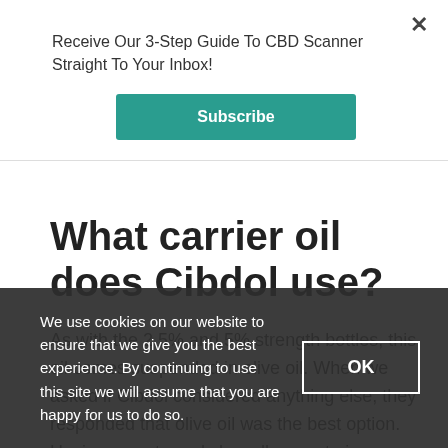Receive Our 3-Step Guide To CBD Scanner Straight To Your Inbox!
Subscribe
What carrier oil does Cibdol use?
As with the 2.5% and 5% strength bottles, this oil comes suspended in olive oil. When we asked if Cibdol considered anything else, they responded that olive oil was the best option. Having an extremely low allergy rate in humans. We are
We use cookies on our website to ensure that we give you the best experience. By continuing to use this site we will assume that you are happy for us to do so.
OK